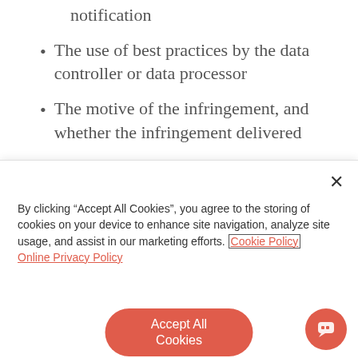notification
The use of best practices by the data controller or data processor
The motive of the infringement, and whether the infringement delivered
By clicking “Accept All Cookies”, you agree to the storing of cookies on your device to enhance site navigation, analyze site usage, and assist in our marketing efforts. Cookie Policy Online Privacy Policy
Accept All Cookies
Cookies Settings